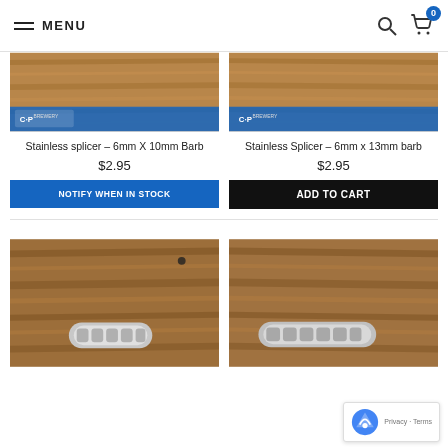MENU
[Figure (photo): Product photo: Stainless splicer 6mm X 10mm Barb on wood background with CP BREWERY logo]
Stainless splicer – 6mm X 10mm Barb
$2.95
NOTIFY WHEN IN STOCK
[Figure (photo): Product photo: Stainless Splicer 6mm x 13mm barb on wood background with CP BREWERY logo]
Stainless Splicer – 6mm x 13mm barb
$2.95
ADD TO CART
[Figure (photo): Product photo: Stainless splicer fitting on wood background]
[Figure (photo): Product photo: Stainless splicer fitting on wood background]